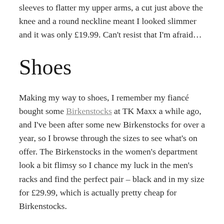sleeves to flatter my upper arms, a cut just above the knee and a round neckline meant I looked slimmer and it was only £19.99. Can't resist that I'm afraid…
Shoes
Making my way to shoes, I remember my fiancé bought some Birkenstocks at TK Maxx a while ago, and I've been after some new Birkenstocks for over a year, so I browse through the sizes to see what's on offer. The Birkenstocks in the women's department look a bit flimsy so I chance my luck in the men's racks and find the perfect pair – black and in my size for £29.99, which is actually pretty cheap for Birkenstocks.